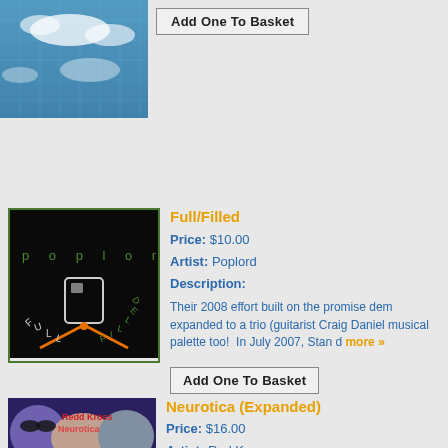[Figure (photo): Album cover with blue sky and glass building reflections]
Add One To Basket
[Figure (photo): Poplord Full/Filled album cover - dark background with gas gauge and text 'poplord' in green letters, fuel gauge arrows in orange]
Full/Filled
Price: $10.00
Artist: Poplord
Description:
Their 2008 effort built on the promise dem expanded to a trio (guitarist Craig Daniel musical palette too! In July 2007, Stan d more »
Add One To Basket
[Figure (photo): Redd Kross Neurotica album cover - illustrated faces with dramatic makeup]
Neurotica (Expanded)
Price: $16.00
Artist: Red Kross
Description:
The 35th anniversary edition of "Neuroti...